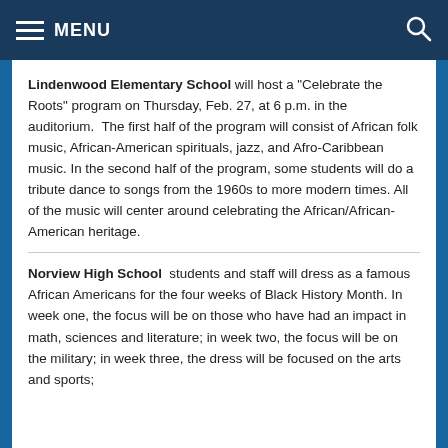MENU
Lindenwood Elementary School will host a “Celebrate the Roots” program on Thursday, Feb. 27, at 6 p.m. in the auditorium.  The first half of the program will consist of African folk music, African-American spirituals, jazz, and Afro-Caribbean music. In the second half of the program, some students will do a tribute dance to songs from the 1960s to more modern times. All of the music will center around celebrating the African/African-American heritage.
Norview High School  students and staff will dress as a famous African Americans for the four weeks of Black History Month. In week one, the focus will be on those who have had an impact in math, sciences and literature; in week two, the focus will be on the military; in week three, the dress will be focused on the arts and sports;